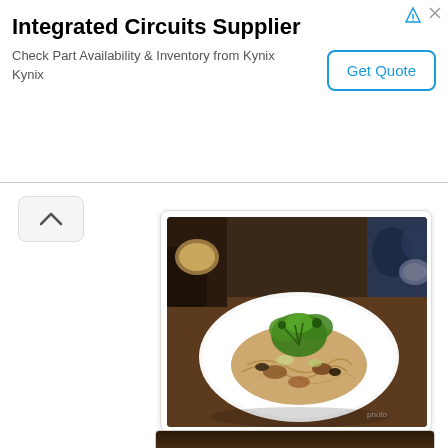[Figure (other): Advertisement banner for Integrated Circuits Supplier - Kynix, with Get Quote button]
[Figure (photo): Photo of Stewed Pork Bihun dish on a white plate, garnished with fresh coriander/cilantro, served on a wooden table at a restaurant]
Stewed Pork Bihun RM38
As simple as this dish may sound, fried bihun with cabbage and tender stewed pork, the flavors were amazing, I fell super in love with this, a must order when you're dining here.
[Figure (photo): Partial bottom of another food photo, cropped]